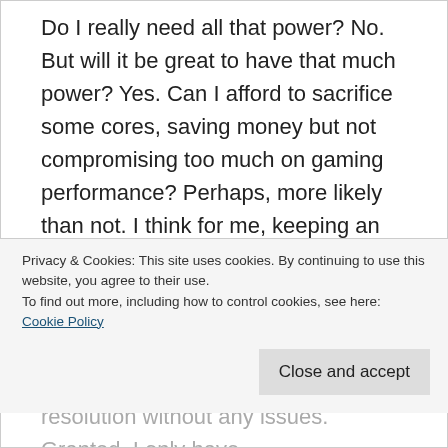Do I really need all that power? No. But will it be great to have that much power? Yes. Can I afford to sacrifice some cores, saving money but not compromising too much on gaming performance? Perhaps, more likely than not. I think for me, keeping an eye out of the overall Budget of my next gen PC, an 8 core or 12 core CPU would make more sense. That would roughly translate to the 4800X or the 4900X CPU in the future.

As for the GPU, I am going all in on this one. If Nvidia is releasing their next gen GPU sometime in the future, I am definitely getting their top of
Privacy & Cookies: This site uses cookies. By continuing to use this website, you agree to their use.
To find out more, including how to control cookies, see here: Cookie Policy
Close and accept
resolution without any issues. Granted, I only have